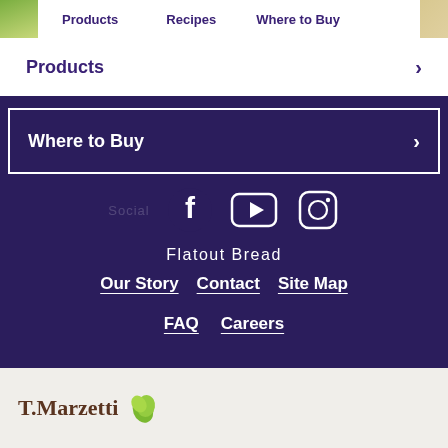Products   Recipes   Where to Buy
Products ›
Where to Buy ›
[Figure (infographic): Social media icons: Facebook, YouTube, Instagram on dark purple background]
Flatout Bread
Our Story
Contact
Site Map
FAQ
Careers
[Figure (logo): T. Marzetti logo with green leaf graphic, brown serif text]